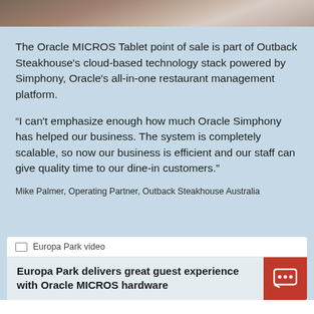[Figure (photo): Partial photo of person(s) cropped at top of page]
The Oracle MICROS Tablet point of sale is part of Outback Steakhouse's cloud-based technology stack powered by Simphony, Oracle's all-in-one restaurant management platform.
“I can't emphasize enough how much Oracle Simphony has helped our business. The system is completely scalable, so now our business is efficient and our staff can give quality time to our dine-in customers.”
Mike Palmer, Operating Partner, Outback Steakhouse Australia
Europa Park video
Europa Park delivers great guest experience with Oracle MICROS hardware